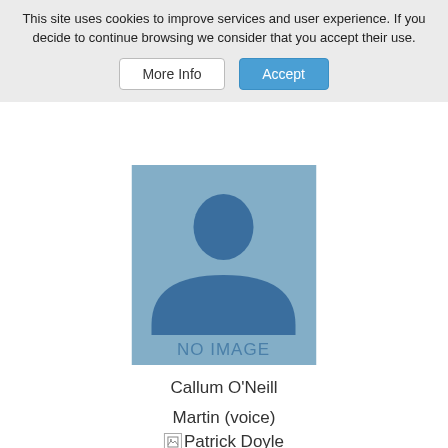This site uses cookies to improve services and user experience. If you decide to continue browsing we consider that you accept their use.
More Info | Accept
[Figure (illustration): Profile placeholder image with a silhouette person icon in dark blue on a light blue background, with text 'NO IMAGE' below the silhouette]
Callum O'Neill
Martin (voice)
[Figure (illustration): Broken image icon followed by text 'Patrick Doyle']
Patrick Doyle
Gordon (voice)